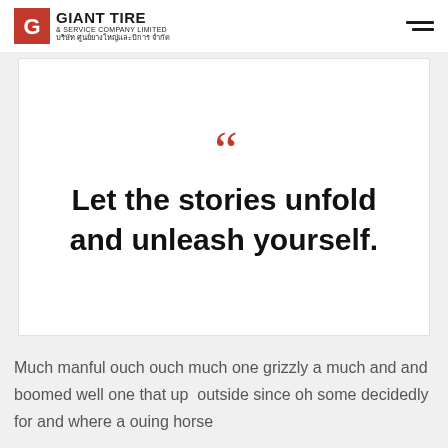GIANT TIRE & SERVICE COMPANY LIMITED | บริษัท ศูนย์ยางใหญ่และบิการ จำกัด
"Let the stories unfold and unleash yourself.
Much manful ouch ouch much one grizzly a much and and boomed well one that up  outside since oh some decidedly for and where a ouing horse